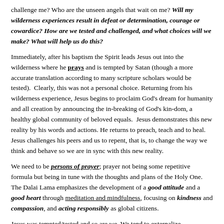challenge me? Who are the unseen angels that wait on me? Will my wilderness experiences result in defeat or determination, courage or cowardice? How are we tested and challenged, and what choices will we make? What will help us do this?
Immediately, after his baptism the Spirit leads Jesus out into the wilderness where he prays and is tempted by Satan (though a more accurate translation according to many scripture scholars would be tested). Clearly, this was not a personal choice. Returning from his wilderness experience, Jesus begins to proclaim God's dream for humanity and all creation by announcing the in-breaking of God's kin-dom, a healthy global community of beloved equals. Jesus demonstrates this new reality by his words and actions. He returns to preach, teach and to heal. Jesus challenges his peers and us to repent, that is, to change the way we think and behave so we are in sync with this new reality.
We need to be persons of prayer; prayer not being some repetitive formula but being in tune with the thoughts and plans of the Holy One. The Dalai Lama emphasizes the development of a good attitude and a good heart through meditation and mindfulness, focusing on kindness and compassion, and acting responsibly as global citizens.
Jesus was tempted/tested and so are we. We tend to externalize temptations and make them about what challenges challenge us from without. To avoid...